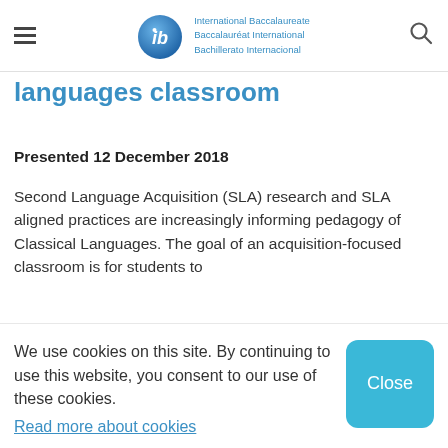International Baccalaureate Baccalauréat International Bachillerato Internacional
languages classroom
Presented 12 December 2018
Second Language Acquisition (SLA) research and SLA aligned practices are increasingly informing pedagogy of Classical Languages. The goal of an acquisition-focused classroom is for students to
We use cookies on this site. By continuing to use this website, you consent to our use of these cookies. Read more about cookies